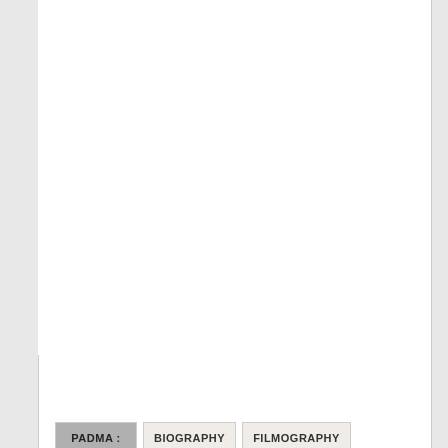[Figure (screenshot): White content area (blank/empty upper portion of a web page)]
+Add Biography
PADMA :
BIOGRAPHY
FILMOGRAPHY